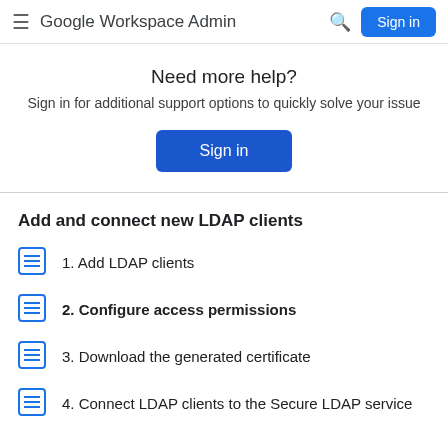Google Workspace Admin  Sign in
Need more help?
Sign in for additional support options to quickly solve your issue
Add and connect new LDAP clients
1. Add LDAP clients
2. Configure access permissions
3. Download the generated certificate
4. Connect LDAP clients to the Secure LDAP service